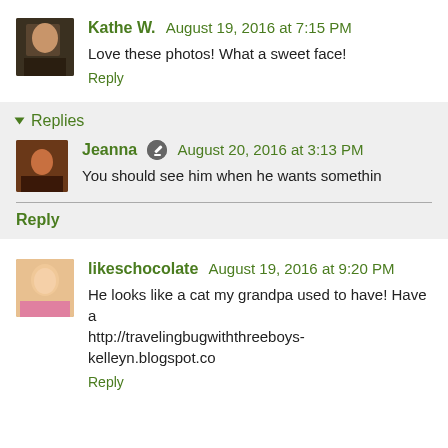[Figure (photo): Avatar photo of Kathe W., a person visible in a darkened indoor setting]
Kathe W. August 19, 2016 at 7:15 PM
Love these photos! What a sweet face!
Reply
Replies
[Figure (photo): Avatar photo of Jeanna, a small profile picture]
Jeanna August 20, 2016 at 3:13 PM
You should see him when he wants somethin
Reply
[Figure (photo): Avatar photo of likeschocolate, a woman in a pink shirt]
likeschocolate August 19, 2016 at 9:20 PM
He looks like a cat my grandpa used to have! Have a http://travelingbugwiththreeboys-kelleyn.blogspot.co
Reply